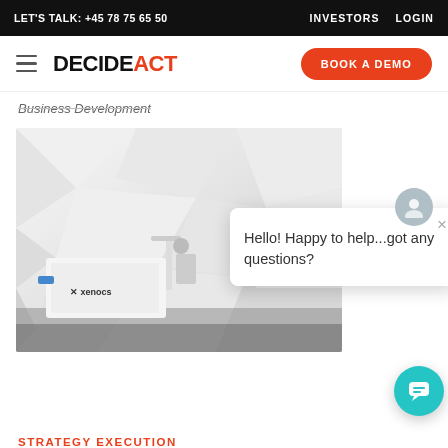LET'S TALK: +45 78 75 65 50   INVESTORS   LOGIN
[Figure (logo): DecideAct logo with hamburger menu and BOOK A DEMO button]
Business Development
[Figure (photo): Photo of a white robotic laboratory machine (Xenocs brand) in front of a geometric white polygon background, with a chat widget overlay saying 'Hello! Happy to help...got any questions?' and a teal chat bubble button]
STRATEGY EXECUTION